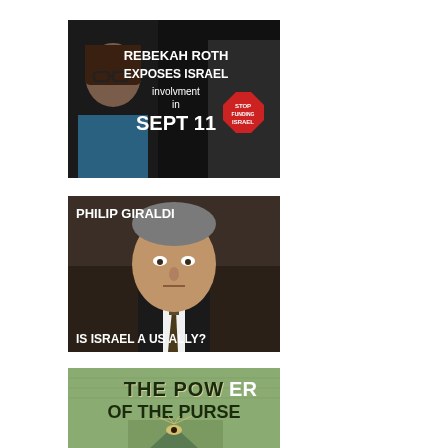[Figure (photo): Meme image with dark background showing a woman with glasses and the text 'REBEKAH ROTH EXPOSES ISRAEL involvment in SEPT 11' with a red stop-sign style graphic reading 'STOP FUNDING ISRAEL']
[Figure (photo): Meme image with dark background showing an older man in a suit and tie with white text 'PHILIP GIRALDI' at top left and 'IS ISRAEL A US ALLY?' at bottom left]
[Figure (photo): Meme image showing a dollar bill background with stylized text 'THE POWER OF THE PURSE' and a partial view of US currency with an eye/pyramid symbol]